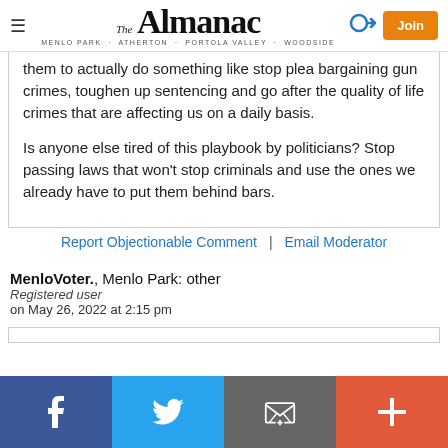The Almanac — MENLO PARK · ATHERTON · PORTOLA VALLEY · WOODSIDE
them to actually do something like stop plea bargaining gun crimes, toughen up sentencing and go after the quality of life crimes that are affecting us on a daily basis.

Is anyone else tired of this playbook by politicians? Stop passing laws that won't stop criminals and use the ones we already have to put them behind bars.
Report Objectionable Comment | Email Moderator
MenloVoter., Menlo Park: other
Registered user
on May 26, 2022 at 2:15 pm
Share buttons: Facebook, Twitter, Email, More